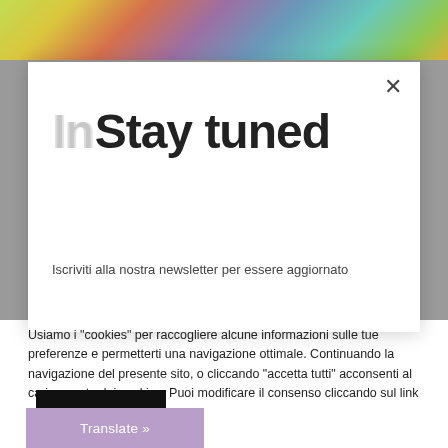[Figure (photo): Colorful pencils/supplies photo strip at top of page]
Stay tuned
Iscriviti alla nostra newsletter per essere aggiornato
Usiamo i "cookies" per raccogliere alcune informazioni sulle tue preferenze e permetterti una navigazione ottimale. Continuando la navigazione del presente sito, o cliccando "accetta tutti" acconsenti al caricamento dei cookies. Puoi modificare il consenso cliccando sul link a fondo pagina.
Accetta tutti
Translate »